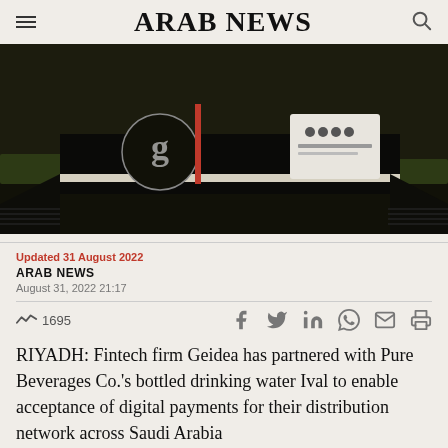ARAB NEWS
[Figure (photo): Outdoor scene showing a black structure or signage with a circular logo, grass in background, dark pavement foreground — likely a Geidea or Pure Beverages installation.]
Updated 31 August 2022
ARAB NEWS
August 31, 2022 21:17
1695
RIYADH: Fintech firm Geidea has partnered with Pure Beverages Co.'s bottled drinking water Ival to enable acceptance of digital payments for their distribution network across Saudi Arabia